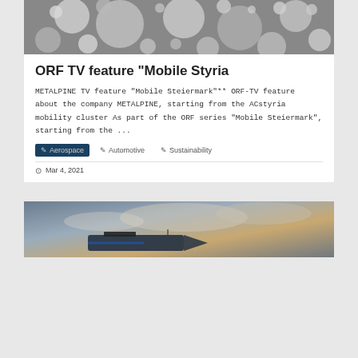[Figure (photo): Microscope image of metallic spherical powder particles in grayscale]
ORF TV feature "Mobile Styria
METALPINE TV feature "Mobile Steiermark"** ORF-TV feature about the company METALPINE, starting from the ACstyria mobility cluster As part of the ORF series "Mobile Steiermark", starting from the ...
Aerospace
Automotive
Sustainability
Mar 4, 2021
[Figure (photo): Aerial or ground view of aircraft or boat with dramatic cloudy sky background]